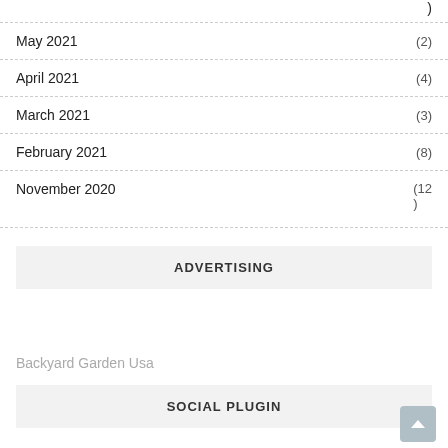(1)
May 2021 (2)
April 2021 (4)
March 2021 (3)
February 2021 (8)
November 2020 (12)
ADVERTISING
Backyard Garden Usa
SOCIAL PLUGIN